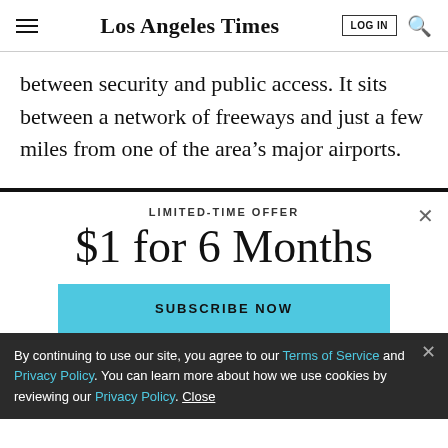Los Angeles Times
between security and public access. It sits between a network of freeways and just a few miles from one of the area’s major airports.
LIMITED-TIME OFFER
$1 for 6 Months
SUBSCRIBE NOW
By continuing to use our site, you agree to our Terms of Service and Privacy Policy. You can learn more about how we use cookies by reviewing our Privacy Policy. Close